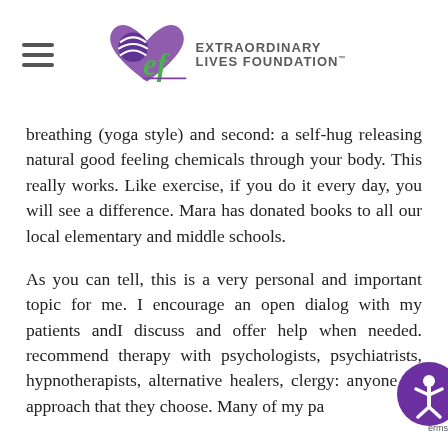Extraordinary Lives Foundation
breathing (yoga style) and second: a self-hug releasing natural good feeling chemicals through your body. This really works. Like exercise, if you do it every day, you will see a difference. Mara has donated books to all our local elementary and middle schools.
As you can tell, this is a very personal and important topic for me. I encourage an open dialog with my patients andI discuss and offer help when needed. recommend therapy with psychologists, psychiatrists, hypnotherapists, alternative healers, clergy: anyone on approach that they choose. Many of my patients